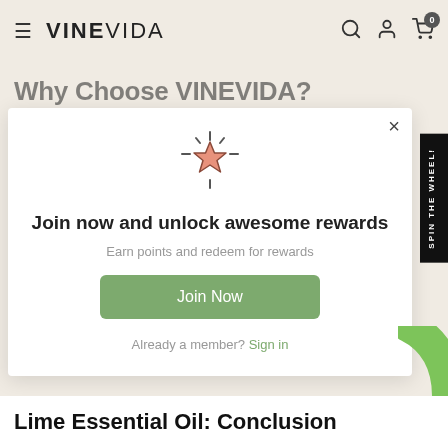VINEVIDA
Why Choose VINEVIDA?
[Figure (illustration): Star icon with sparkle/shine lines around it, in salmon/coral and brown outline colors, indicating a rewards or favorites symbol]
Join now and unlock awesome rewards
Earn points and redeem for rewards
Join Now
Already a member? Sign in
Lime Essential Oil: Conclusion